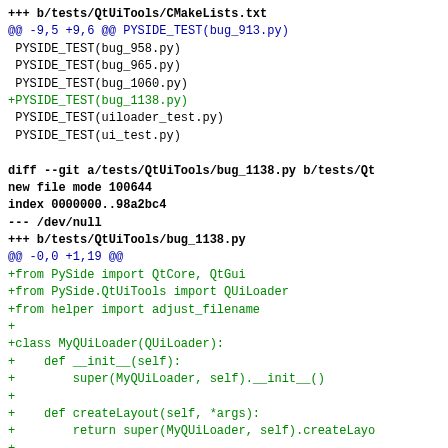diff --git a/tests/QtUiTools/CMakeLists.txt
+++ b/tests/QtUiTools/CMakeLists.txt
@@ -9,5 +9,6 @@ PYSIDE_TEST(bug_913.py)
 PYSIDE_TEST(bug_958.py)
 PYSIDE_TEST(bug_965.py)
 PYSIDE_TEST(bug_1060.py)
+PYSIDE_TEST(bug_1138.py)
 PYSIDE_TEST(uiloader_test.py)
 PYSIDE_TEST(ui_test.py)

diff --git a/tests/QtUiTools/bug_1138.py b/tests/Qt
new file mode 100644
index 0000000..98a2bc4
--- /dev/null
+++ b/tests/QtUiTools/bug_1138.py
@@ -0,0 +1,19 @@
+from PySide import QtCore, QtGui
+from PySide.QtUiTools import QUiLoader
+from helper import adjust_filename
++
+class MyQUiLoader(QUiLoader):
+    def __init__(self):
+        super(MyQUiLoader, self).__init__()
++
+    def createLayout(self, *args):
+        return super(MyQUiLoader, self).createLayo
++
+if __name__ == "__main__":
+    app = QtGui.QApplication([])
++
+    ui = MyQUiLoader().load(adjust_filename("bug_1